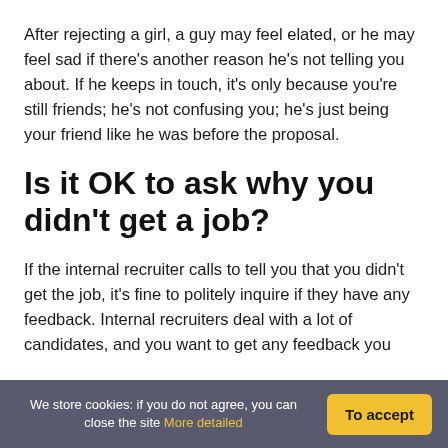After rejecting a girl, a guy may feel elated, or he may feel sad if there’s another reason he’s not telling you about. If he keeps in touch, it’s only because you’re still friends; he’s not confusing you; he’s just being your friend like he was before the proposal.
Is it OK to ask why you didn’t get a job?
If the internal recruiter calls to tell you that you didn’t get the job, it’s fine to politely inquire if they have any feedback. Internal recruiters deal with a lot of candidates, and you want to get any feedback you
We store cookies: if you do not agree, you can close the site More detailed